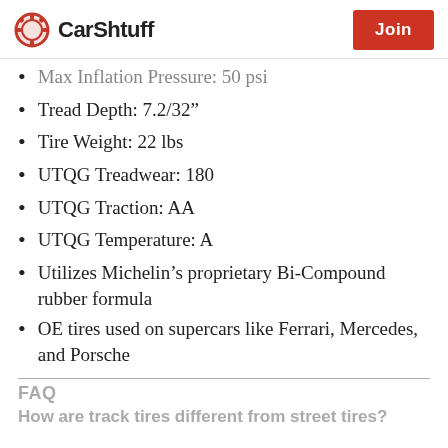CarShtuff | Join
Max Inflation Pressure: 50 psi
Tread Depth: 7.2/32"
Tire Weight: 22 lbs
UTQG Treadwear: 180
UTQG Traction: AA
UTQG Temperature: A
Utilizes Michelin’s proprietary Bi-Compound rubber formula
OE tires used on supercars like Ferrari, Mercedes, and Porsche
FAQ
How are track tires different from street tires?